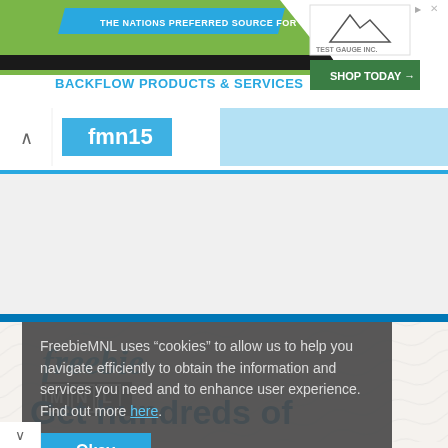[Figure (screenshot): Advertisement banner for Test Gauge Inc. promoting backflow products and services with green and blue design, Shop Today button]
THE NATIONS PREFERRED SOURCE FOR BACKFLOW PRODUCTS & SERVICES
[Figure (screenshot): FreebieMNL website navigation bar with logo and blue accent bar]
[Figure (screenshot): FreebieMNL website main content area showing freebie logo, Get hundreds of Discounts & Vouchers headline, Grab P100,000 worth of vouchers on food, home and fashion finds and more text, and Redeem Vouchers Today button]
freebie
Get hundreds of Discounts & Vouchers
Grab P100,000 worth of vouchers on food, home and fashion finds and more!
Redeem Vouchers Today!
FreebieMNL uses “cookies” to allow us to help you navigate efficiently to obtain the information and services you need and to enhance user experience. Find out more here.
Okay